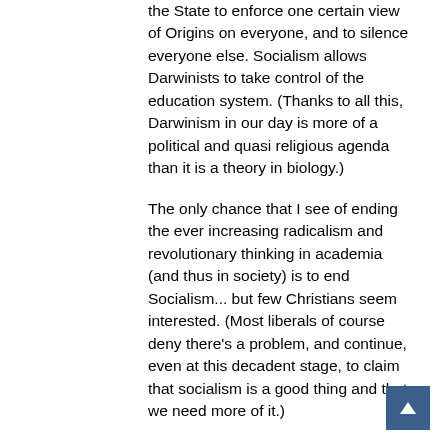the State to enforce one certain view of Origins on everyone, and to silence everyone else. Socialism allows Darwinists to take control of the education system. (Thanks to all this, Darwinism in our day is more of a political and quasi religious agenda than it is a theory in biology.)

The only chance that I see of ending the ever increasing radicalism and revolutionary thinking in academia (and thus in society) is to end Socialism... but few Christians seem interested. (Most liberals of course deny there's a problem, and continue, even at this decadent stage, to claim that socialism is a good thing and that we need more of it.)